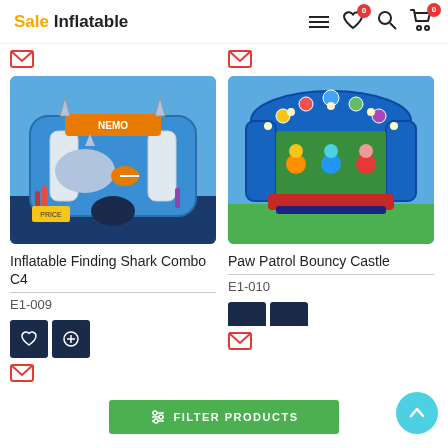Sale Inflatable — navigation header with hamburger menu, wishlist (0), search, and cart (0)
[Figure (photo): Inflatable Finding Shark Combo C4 — blue ocean-themed inflatable bouncy castle with Finding Nemo characters including a shark and clownfish]
[Figure (photo): Paw Patrol Bouncy Castle — blue inflatable bouncy castle with Paw Patrol characters printed on front panel]
Inflatable Finding Shark Combo C4
E1-009
Paw Patrol Bouncy Castle
E1-010